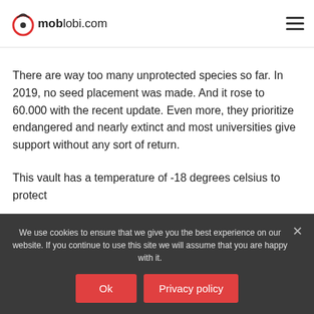moblobi.com
There are way too many unprotected species so far. In 2019, no seed placement was made. And it rose to 60.000 with the recent update. Even more, they prioritize endangered and nearly extinct and most universities give support without any sort of return.
This vault has a temperature of -18 degrees celsius to protect
We use cookies to ensure that we give you the best experience on our website. If you continue to use this site we will assume that you are happy with it.